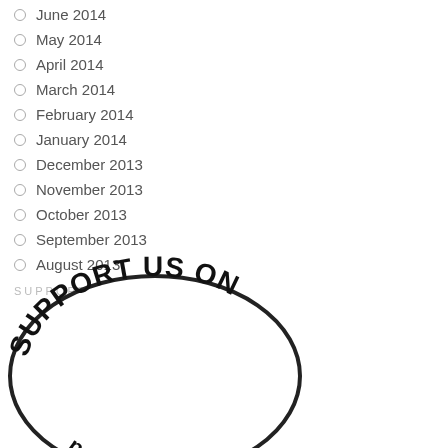June 2014
May 2014
April 2014
March 2014
February 2014
January 2014
December 2013
November 2013
October 2013
September 2013
August 2013
SUPPORT US!
[Figure (logo): Support us on Patreon oval badge with text 'SUPPORT US ON' in bold uppercase lettering along an arc]